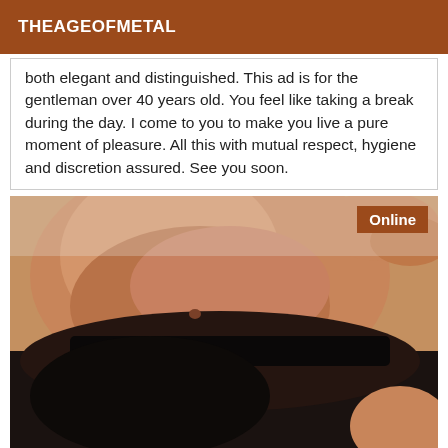THEAGEOFMETAL
both elegant and distinguished. This ad is for the gentleman over 40 years old. You feel like taking a break during the day. I come to you to make you live a pure moment of pleasure. All this with mutual respect, hygiene and discretion assured. See you soon.
[Figure (photo): Close-up photo of a male torso with dark clothing, with an 'Online' badge in the upper right corner in brown/orange background]